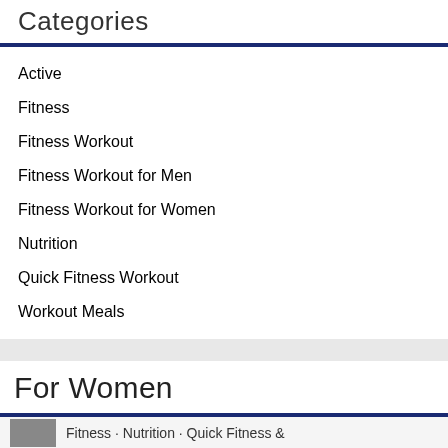Categories
Active
Fitness
Fitness Workout
Fitness Workout for Men
Fitness Workout for Women
Nutrition
Quick Fitness Workout
Workout Meals
For Women